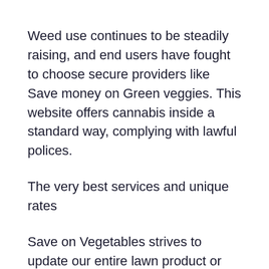Weed use continues to be steadily raising, and end users have fought to choose secure providers like Save money on Green veggies. This website offers cannabis inside a standard way, complying with lawful polices.
The very best services and unique rates
Save on Vegetables strives to update our entire lawn product or service stock everyday to provide a very successful and steady support. On this web site, buyers have the accurate goods they want to get and the most affordable rates in the marketplace.
Buy weed online at Spend less on Plants is a very simple and easy pleasurable experience, allowing you